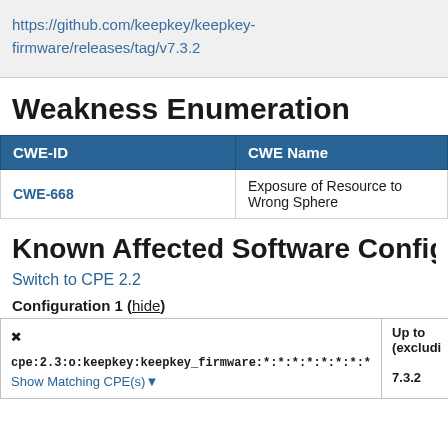https://github.com/keepkey/keepkey-firmware/releases/tag/v7.3.2
Weakness Enumeration
| CWE-ID | CWE Name |
| --- | --- |
| CWE-668 | Exposure of Resource to Wrong Sphere |
Known Affected Software Config
Switch to CPE 2.2
Configuration 1 (hide)
|  | Up to (excluding) |
| --- | --- |
| cpe:2.3:o:keepkey:keepkey_firmware:*:*:*:*:*:*:*:*
Show Matching CPE(s) | 7.3.2 |